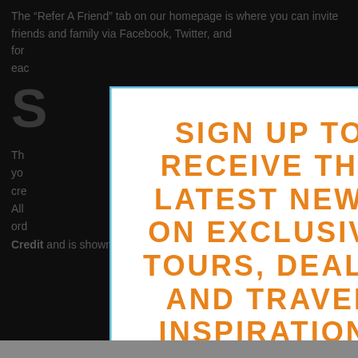The “Refer A Friend” tab on our homepage is where you can invite friends and family via Facebook, Twitter, and...for...each...
S
Th...re you...re cre...als. All...xt ord... Credit and is shown in the cart and checkout totals.
[Figure (screenshot): Modal popup with blue border and close button (x), containing orange uppercase text: SIGN UP TO RECEIVE THE LATEST NEWS ON EXCLUSIVE TOURS, DEALS, AND TRAVEL INSPIRATION! with a logo at the bottom.]